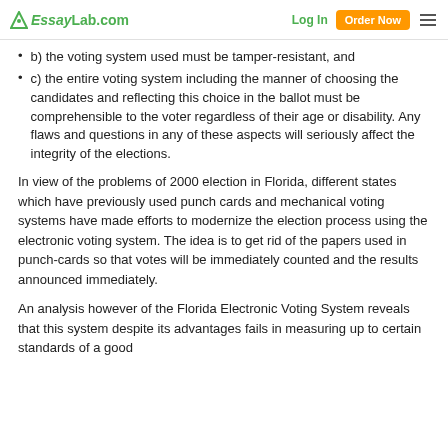EssayLab.com | Log In | Order Now
b) the voting system used must be tamper-resistant, and
c) the entire voting system including the manner of choosing the candidates and reflecting this choice in the ballot must be comprehensible to the voter regardless of their age or disability. Any flaws and questions in any of these aspects will seriously affect the integrity of the elections.
In view of the problems of 2000 election in Florida, different states which have previously used punch cards and mechanical voting systems have made efforts to modernize the election process using the electronic voting system. The idea is to get rid of the papers used in punch-cards so that votes will be immediately counted and the results announced immediately.
An analysis however of the Florida Electronic Voting System reveals that this system despite its advantages fails in measuring up to certain standards of a good